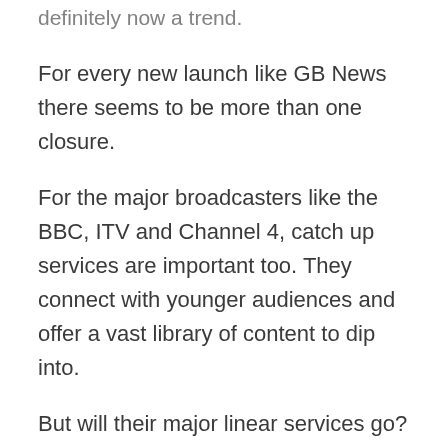definitely now a trend.
For every new launch like GB News there seems to be more than one closure.
For the major broadcasters like the BBC, ITV and Channel 4, catch up services are important too. They connect with younger audiences and offer a vast library of content to dip into.
But will their major linear services go? Live broadcasting and “big” programmes show just how cherished the major channels still are.